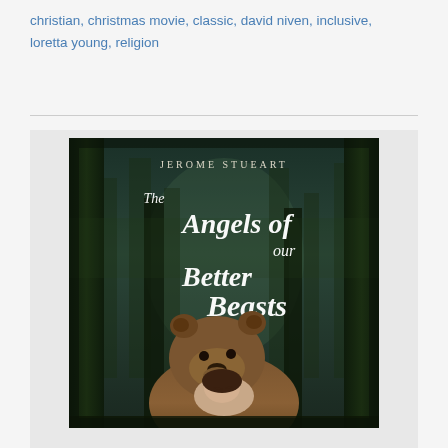christian, christmas movie, classic, david niven, inclusive, loretta young, religion
[Figure (illustration): Book cover of 'The Angels of our Better Beasts' by Jerome Stueart. Dark forest background with tall trees. Script/cursive title text in white. A bear and woman figure in the lower portion of the cover.]